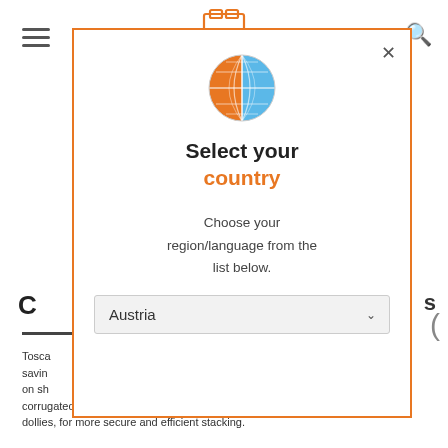[Figure (screenshot): Website modal popup for country/region selection. Shows a globe icon split orange/blue, title 'Select your country', subtitle 'Choose your region/language from the list below.', and a dropdown showing 'Austria'. Background shows partial webpage with hamburger menu, search icon, and product text.]
Select your country
Choose your region/language from the list below.
Austria